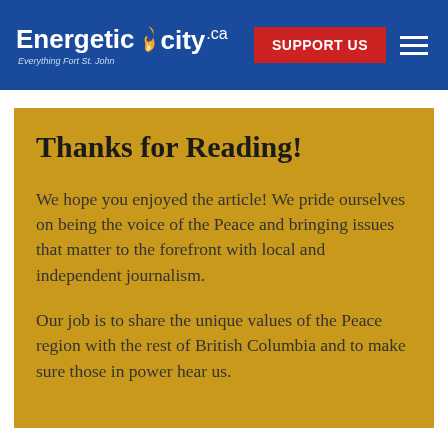Energetic City.ca — Everything Fort St. John | SUPPORT US
Thanks for Reading!
We hope you enjoyed the article! We pride ourselves on being the voice of the Peace and bringing issues that matter to the forefront with local and independent journalism.
Our job is to share the unique values of the Peace region with the rest of British Columbia and to make sure those in power hear us.